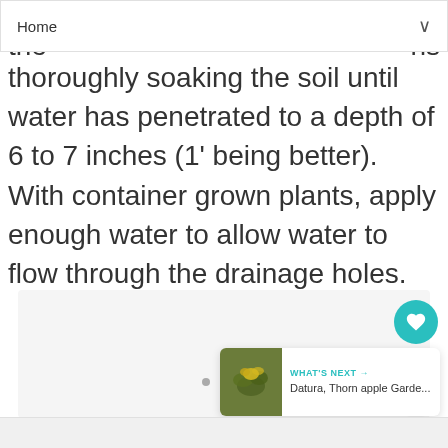Home
thoroughly soaking the soil until water has penetrated to a depth of 6 to 7 inches (1' being better). With container grown plants, apply enough water to allow water to flow through the drainage holes.
[Figure (screenshot): A mobile UI card area with dot page indicators and interactive buttons (heart/like and share), plus a 'What's Next' card showing Datura, Thornappple Garde... with a plant thumbnail image]
WHAT'S NEXT → Datura, Thorn apple Garde...